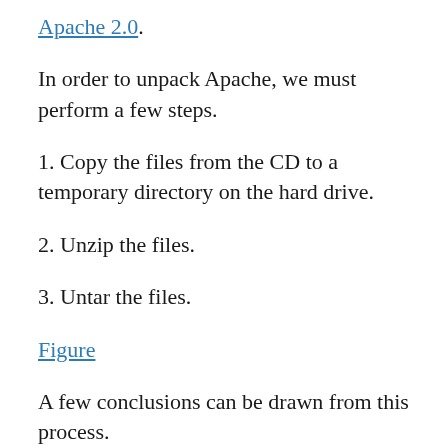Apache 2.0.
In order to unpack Apache, we must perform a few steps.
1. Copy the files from the CD to a temporary directory on the hard drive.
2. Unzip the files.
3. Untar the files.
Figure
A few conclusions can be drawn from this process.